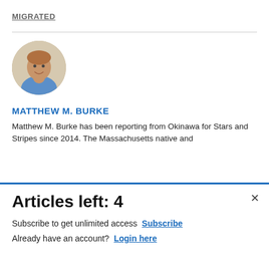MIGRATED
[Figure (photo): Circular author headshot photo of Matthew M. Burke, a man in a light blue shirt smiling, set against a beige background]
MATTHEW M. BURKE
Matthew M. Burke has been reporting from Okinawa for Stars and Stripes since 2014. The Massachusetts native and
[Figure (infographic): Advertisement banner for Commissary Click2Go service showing green logo, commissary badge logo, and text 'order groceries' and 'PICKUP' on a blue gradient background]
Articles left: 4
Subscribe to get unlimited access  Subscribe
Already have an account?  Login here